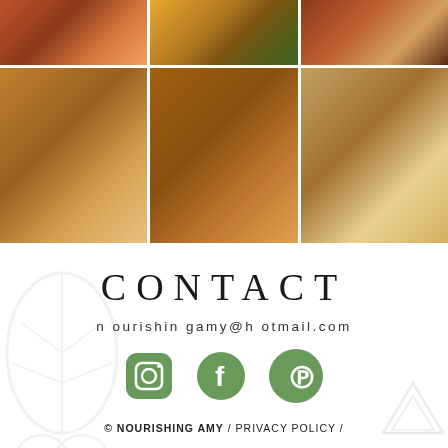[Figure (photo): Grid of 6 food photography images: top row shows stuffed vegetables, autumn pumpkin salad, and toasted bread; bottom row shows cinnamon rolls, stacked chocolate chip cookies, and frosted cupcakes/muffins]
CONTACT
nourishingamy@hotmail.com
[Figure (illustration): Three social media icons: Instagram camera icon (rounded square, sage green), Facebook 'f' icon (circle, sage green), Pinterest 'P' icon (circle, sage green)]
© NOURISHING AMY / PRIVACY POLICY /